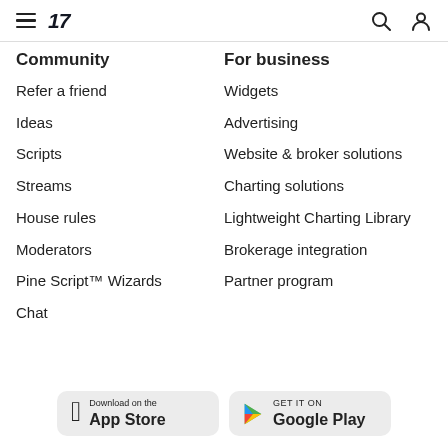TradingView navigation header
Community
Refer a friend
Ideas
Scripts
Streams
House rules
Moderators
Pine Script™ Wizards
Chat
For business
Widgets
Advertising
Website & broker solutions
Charting solutions
Lightweight Charting Library
Brokerage integration
Partner program
[Figure (screenshot): Download on the App Store button]
[Figure (screenshot): Get it on Google Play button]